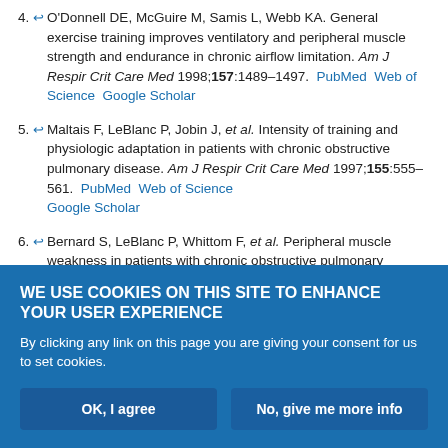4. O'Donnell DE, McGuire M, Samis L, Webb KA. General exercise training improves ventilatory and peripheral muscle strength and endurance in chronic airflow limitation. Am J Respir Crit Care Med 1998;157:1489–1497. PubMed Web of Science Google Scholar
5. Maltais F, LeBlanc P, Jobin J, et al. Intensity of training and physiologic adaptation in patients with chronic obstructive pulmonary disease. Am J Respir Crit Care Med 1997;155:555–561. PubMed Web of Science Google Scholar
6. Bernard S, LeBlanc P, Whittom F, et al. Peripheral muscle weakness in patients with chronic obstructive pulmonary disease. Am J Respir Crit Care Med 1998;158:629–634. PubMed Web of Science Google Scholar
7. Clark CJ, Cochrane LM, Mackay E, Paton B. Skeletal muscle strength...
WE USE COOKIES ON THIS SITE TO ENHANCE YOUR USER EXPERIENCE
By clicking any link on this page you are giving your consent for us to set cookies.